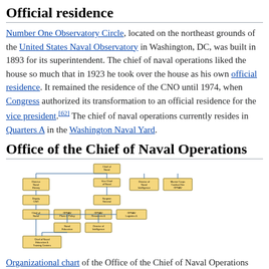Official residence
Number One Observatory Circle, located on the northeast grounds of the United States Naval Observatory in Washington, DC, was built in 1893 for its superintendent. The chief of naval operations liked the house so much that in 1923 he took over the house as his own official residence. It remained the residence of the CNO until 1974, when Congress authorized its transformation to an official residence for the vice president.[62] The chief of naval operations currently resides in Quarters A in the Washington Naval Yard.
Office of the Chief of Naval Operations
[Figure (organizational-chart): Organizational chart of the Office of the Chief of Naval Operations (OPNAV) showing hierarchy of positions with yellow boxes and blue connectors.]
Organizational chart of the Office of the Chief of Naval Operations (OPNAV).